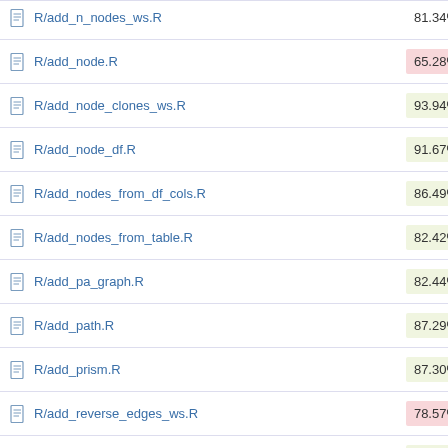| File | Coverage |
| --- | --- |
| R/add_n_nodes_ws.R | 81.34% |
| R/add_node.R | 65.28% |
| R/add_node_clones_ws.R | 93.94% |
| R/add_node_df.R | 91.67% |
| R/add_nodes_from_df_cols.R | 86.49% |
| R/add_nodes_from_table.R | 82.42% |
| R/add_pa_graph.R | 82.44% |
| R/add_path.R | 87.29% |
| R/add_prism.R | 87.30% |
| R/add_reverse_edges_ws.R | 78.57% |
| R/add_smallworld_graph.R | 84.62% |